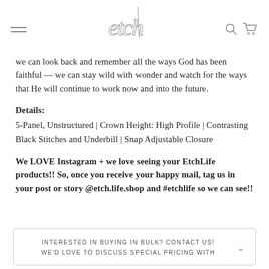[Figure (logo): Etch brand logo in script/cursive handwriting style with hamburger menu on left and search/cart icons on right]
we can look back and remember all the ways God has been faithful — we can stay wild with wonder and watch for the ways that He will continue to work now and into the future.
Details:
5-Panel, Unstructured | Crown Height: High Profile | Contrasting Black Stitches and Underbill | Snap Adjustable Closure
We LOVE Instagram + we love seeing your EtchLife products!! So, once you receive your happy mail, tag us in your post or story @etch.life.shop and #etchlife so we can see!!
INTERESTED IN BUYING IN BULK? CONTACT US! WE'D LOVE TO DISCUSS SPECIAL PRICING WITH